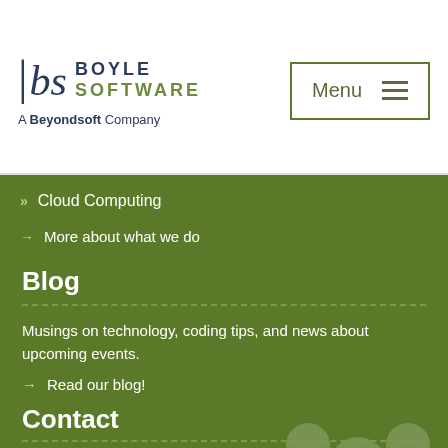[Figure (logo): Boyle Software logo with 'A Beyondsoft Company' tagline and Menu button]
» Cloud Computing
→ More about what we do
Blog
Musings on technology, coding tips, and news about upcoming events.
→ Read our blog!
Contact